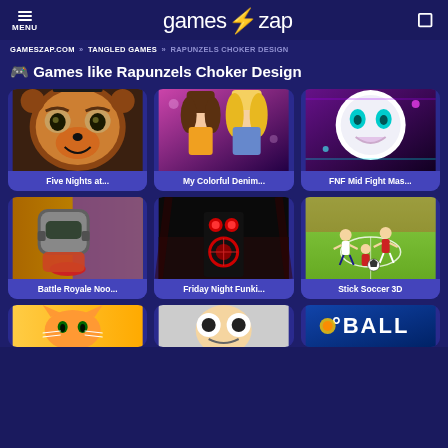MENU | gameszap | [search]
GAMESZAP.COM » TANGLED GAMES » RAPUNZELS CHOKER DESIGN
🎮 Games like Rapunzels Choker Design
[Figure (photo): Five Nights at Freddy's game thumbnail - animatronic bear face]
Five Nights at...
[Figure (photo): My Colorful Denim game thumbnail - two girls fashion]
My Colorful Denim...
[Figure (photo): FNF Mid Fight Mas... game thumbnail - ghost character]
FNF Mid Fight Mas...
[Figure (photo): Battle Royale Noo... game thumbnail - robot helmet]
Battle Royale Noo...
[Figure (photo): Friday Night Funki... game thumbnail - dark villain character]
Friday Night Funki...
[Figure (photo): Stick Soccer 3D game thumbnail - soccer players]
Stick Soccer 3D
[Figure (photo): Partial game thumbnail - cat character]
[Figure (photo): Partial game thumbnail - cartoon character]
[Figure (photo): Partial game thumbnail - Ball game]